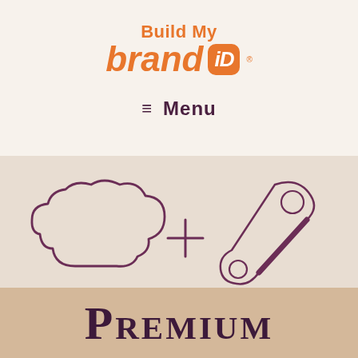[Figure (logo): Build My Brand iD logo with orange text and iD in orange rounded rectangle]
≡  Menu
[Figure (illustration): Illustrated icons of a cloud and a wrench connected by a plus sign, drawn in outline style on a textured beige background]
Premium